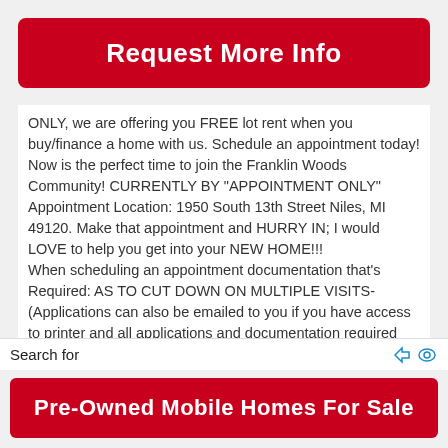Request More Info
ONLY, we are offering you FREE lot rent when you buy/finance a home with us. Schedule an appointment today! Now is the perfect time to join the Franklin Woods Community! CURRENTLY BY "APPOINTMENT ONLY" Appointment Location: 1950 South 13th Street Niles, MI 49120. Make that appointment and HURRY IN; I would LOVE to help you get into your NEW HOME!!!
When scheduling an appointment documentation that's Required: AS TO CUT DOWN ON MULTIPLE VISITS-
(Applications can also be emailed to you if you have access to printer and all applications and documentation required can also be emailed back.)
-ID
Search for
Pre-Owned Mobile Homes For Sale